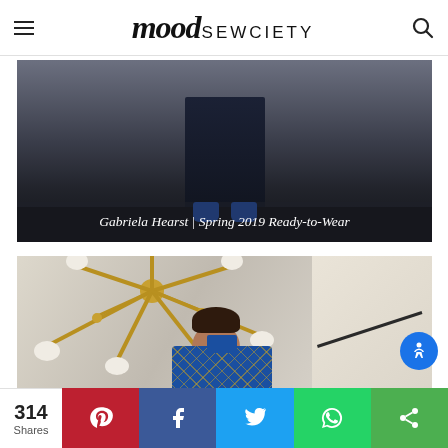mood SEWCIETY
[Figure (photo): Fashion runway photo showing model's feet/legs in dark pants and blue shoes on a dark floor, with caption overlay reading 'Gabriela Hearst | Spring 2019 Ready-to-Wear']
Gabriela Hearst | Spring 2019 Ready-to-Wear
[Figure (photo): Model wearing a blue chain-print shirt standing in front of a large gold sputnik chandelier with white shades]
314 Shares — Pinterest, Facebook, Twitter, WhatsApp, Share buttons